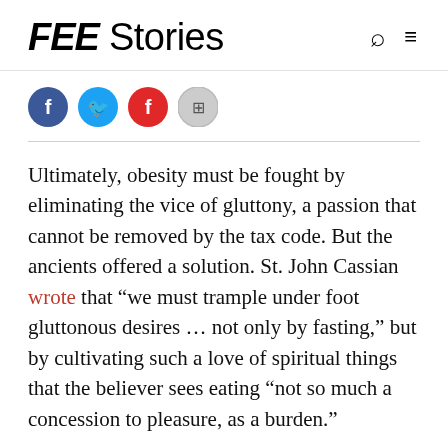FEE Stories
[Figure (infographic): Social sharing buttons: Facebook (blue circle with f), Twitter (light blue circle with bird), Flipboard (red circle with f), and a grey circle with a grid/more icon]
Ultimately, obesity must be fought by eliminating the vice of gluttony, a passion that cannot be removed by the tax code. But the ancients offered a solution. St. John Cassian wrote that “we must trample under foot gluttonous desires … not only by fasting,” but by cultivating such a love of spiritual things that the believer sees eating “not so much a concession to pleasure, as a burden.”